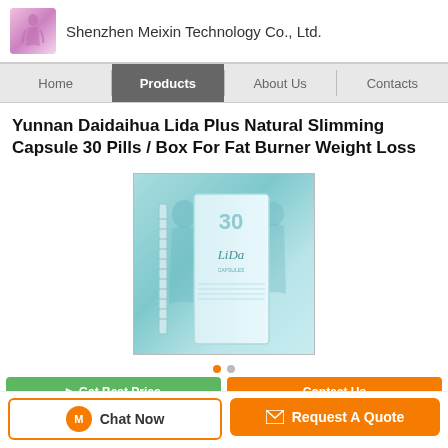Shenzhen Meixin Technology Co., Ltd.
Home | Products | About Us | Contacts
Yunnan Daidaihua Lida Plus Natural Slimming Capsule 30 Pills / Box For Fat Burner Weight Loss
[Figure (photo): Product photo of Lida slimming capsule box/packaging with teal/aqua color scheme showing slim female figure silhouette]
Chat Now | Request A Quote